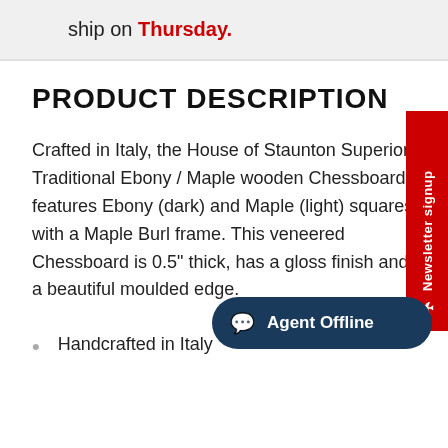ship on Thursday.
PRODUCT DESCRIPTION
Crafted in Italy, the House of Staunton Superior Traditional Ebony / Maple wooden Chessboard features Ebony (dark) and Maple (light) squares with a Maple Burl frame. This veneered Chessboard is 0.5" thick, has a gloss finish and a beautiful moulded edge.
Handcrafted in Italy